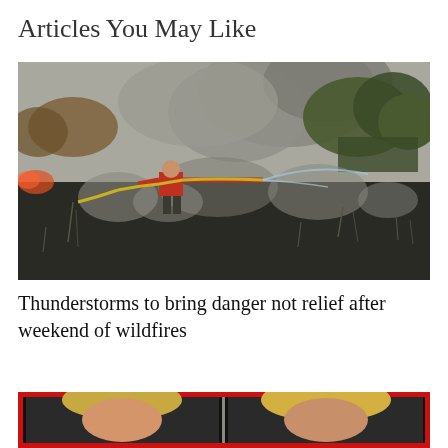Articles You May Like
[Figure (photo): Firefighter in red shirt holding a yellow hose spraying water on a wildfire burning through dry grass and brush, with smoke filling the air and burned black ground visible in the foreground, trees in background.]
Thunderstorms to bring danger not relief after weekend of wildfires
[Figure (photo): Two people with blonde hair visible, shown from neck up, inside a red-bordered frame, partially cut off at bottom of page.]